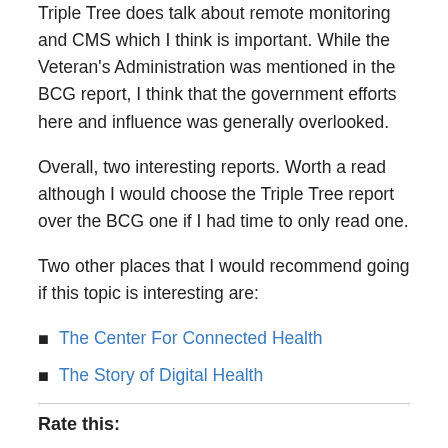Triple Tree does talk about remote monitoring and CMS which I think is important. While the Veteran's Administration was mentioned in the BCG report, I think that the government efforts here and influence was generally overlooked.
Overall, two interesting reports. Worth a read although I would choose the Triple Tree report over the BCG one if I had time to only read one.
Two other places that I would recommend going if this topic is interesting are:
The Center For Connected Health
The Story of Digital Health
Rate this: